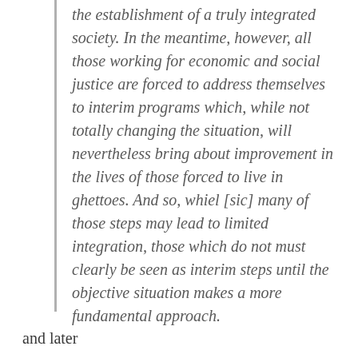the establishment of a truly integrated society. In the meantime, however, all those working for economic and social justice are forced to address themselves to interim programs which, while not totally changing the situation, will nevertheless bring about improvement in the lives of those forced to live in ghettoes. And so, whiel [sic] many of those steps may lead to limited integration, those which do not must clearly be seen as interim steps until the objective situation makes a more fundamental approach.
and later